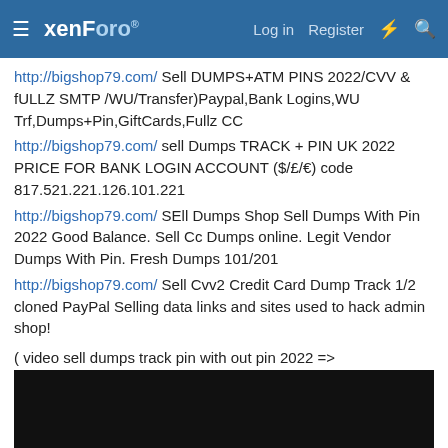xenForo  Log in  Register
http://bigshop79.com/ Sell DUMPS+ATM PINS 2022/CVV & fULLZ SMTP /WU/Transfer)Paypal,Bank Logins,WU Trf,Dumps+Pin,GiftCards,Fullz CC
http://bigshop79.com/ sell Dumps TRACK + PIN UK 2022 PRICE FOR BANK LOGIN ACCOUNT ($/£/€) code 817.521.221.126.101.221
http://bigshop79.com/ SEll Dumps Shop Sell Dumps With Pin 2022 Good Balance. Sell Cc Dumps online. Legit Vendor Dumps With Pin. Fresh Dumps 101/201
http://bigshop79.com/ Sell Cvv2 Credit Card Dump Track 1/2 cloned PayPal Selling data links and sites used to hack admin shop!
( video sell dumps track pin with out pin 2022 =>
[Figure (screenshot): Dark/black video thumbnail placeholder]